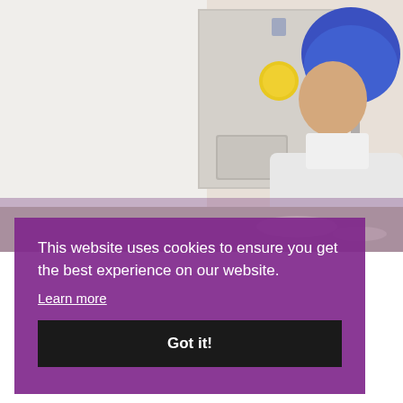[Figure (photo): A person wearing a blue hair net and white coat working in a kitchen or laboratory setting, with industrial equipment and panels visible in the background.]
This website uses cookies to ensure you get the best experience on our website.
Learn more
Got it!